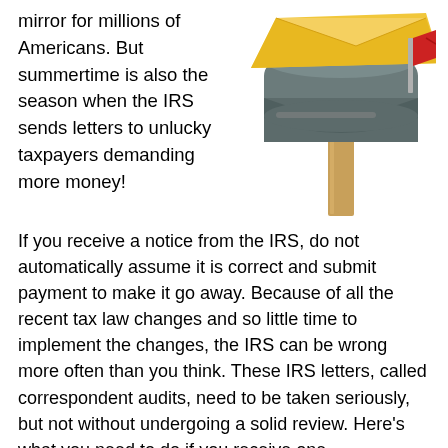mirror for millions of Americans. But summertime is also the season when the IRS sends letters to unlucky taxpayers demanding more money!
[Figure (photo): A mailbox with a yellow envelope and red flag raised, mounted on a wooden post against a white background.]
If you receive a notice from the IRS, do not automatically assume it is correct and submit payment to make it go away. Because of all the recent tax law changes and so little time to implement the changes, the IRS can be wrong more often than you think. These IRS letters, called correspondent audits, need to be taken seriously, but not without undergoing a solid review. Here's what you need to do if you receive one.
Stay calm. Don't overreact to getting a letter from the IRS. This is easier said than done, but remember that the IRS
This is easier said than done, but remember that the IRS